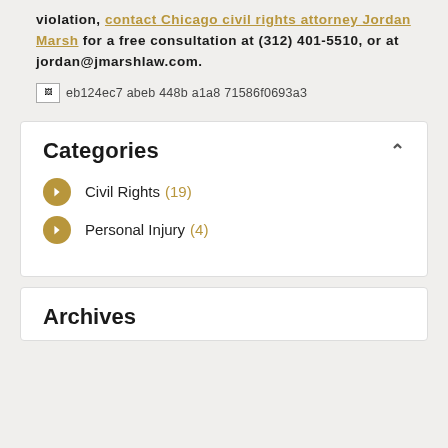violation, contact Chicago civil rights attorney Jordan Marsh for a free consultation at (312) 401-5510, or at jordan@jmarshlaw.com.
[Figure (other): Broken image placeholder with filename eb124ec7 abeb 448b a1a8 71586f0693a3]
Categories
Civil Rights (19)
Personal Injury (4)
Archives